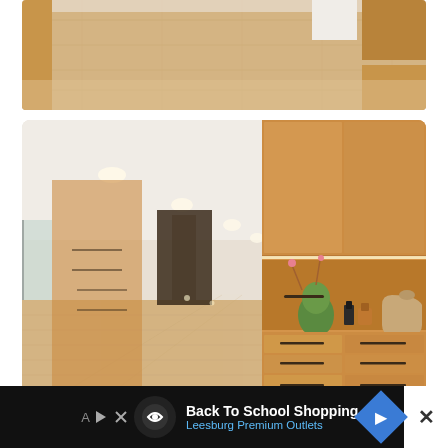[Figure (photo): Interior hallway with light wood flooring and built-in wooden cabinetry, top cropped view showing floor and ceiling area]
[Figure (photo): Modern interior corridor with floor-to-ceiling built-in light oak wood cabinetry and drawers, recessed ceiling lights, light wood flooring extending into a long hallway, with decorative items on an open shelf niche]
Photography by Jonas Kuhn
[Figure (screenshot): Advertisement bar: Back To School Shopping Deals - Leesburg Premium Outlets, with logo icon, play button, navigation arrow, and close button on black background]